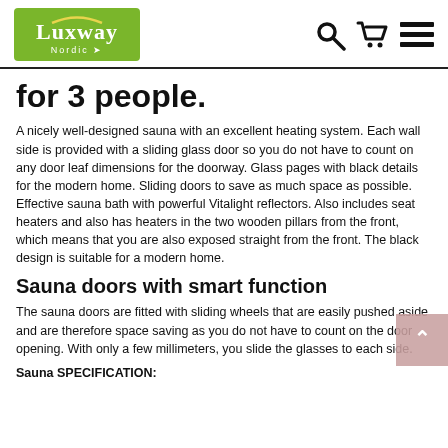Luxway Nordic [logo] [search icon] [cart icon] [menu icon]
for 3 people.
A nicely well-designed sauna with an excellent heating system. Each wall side is provided with a sliding glass door so you do not have to count on any door leaf dimensions for the doorway. Glass pages with black details for the modern home. Sliding doors to save as much space as possible. Effective sauna bath with powerful Vitalight reflectors. Also includes seat heaters and also has heaters in the two wooden pillars from the front, which means that you are also exposed straight from the front. The black design is suitable for a modern home.
Sauna doors with smart function
The sauna doors are fitted with sliding wheels that are easily pushed aside and are therefore space saving as you do not have to count on the door opening. With only a few millimeters, you slide the glasses to each side.
Sauna SPECIFICATION: